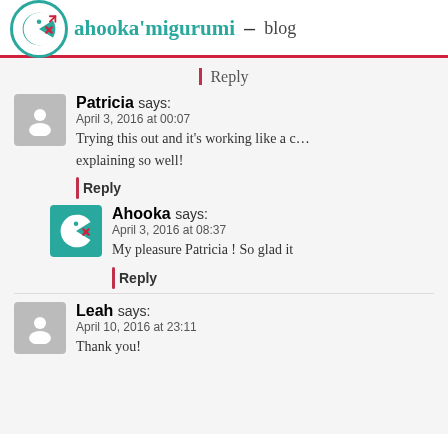ahooka'migurumi – blog
Reply
Patricia says: April 3, 2016 at 00:07
Trying this out and it's working like a c… explaining so well!
Reply
Ahooka says: April 3, 2016 at 08:37
My pleasure Patricia ! So glad it
Reply
Leah says: April 10, 2016 at 23:11
Thank you!